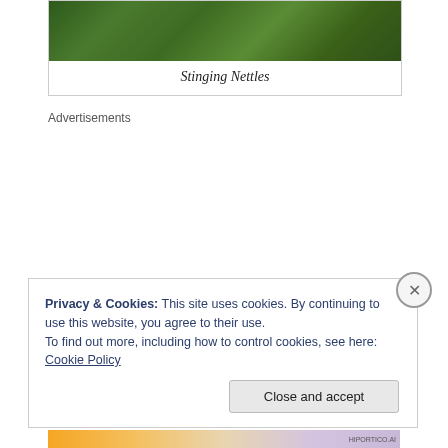[Figure (photo): Photo of stinging nettles plant with green foliage against a dark background]
Stinging Nettles
Advertisements
Privacy & Cookies: This site uses cookies. By continuing to use this website, you agree to their use.
To find out more, including how to control cookies, see here: Cookie Policy
Close and accept